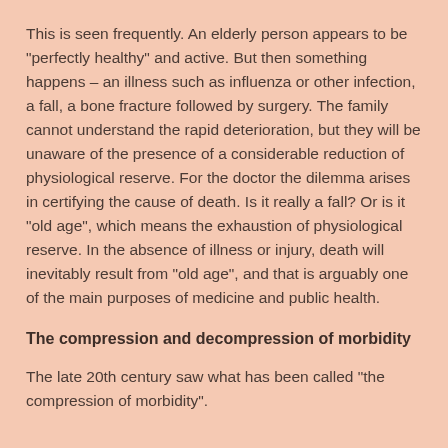This is seen frequently. An elderly person appears to be "perfectly healthy" and active. But then something happens – an illness such as influenza or other infection, a fall, a bone fracture followed by surgery. The family cannot understand the rapid deterioration, but they will be unaware of the presence of a considerable reduction of physiological reserve. For the doctor the dilemma arises in certifying the cause of death. Is it really a fall? Or is it "old age", which means the exhaustion of physiological reserve. In the absence of illness or injury, death will inevitably result from "old age", and that is arguably one of the main purposes of medicine and public health.
The compression and decompression of morbidity
The late 20th century saw what has been called "the compression of morbidity".